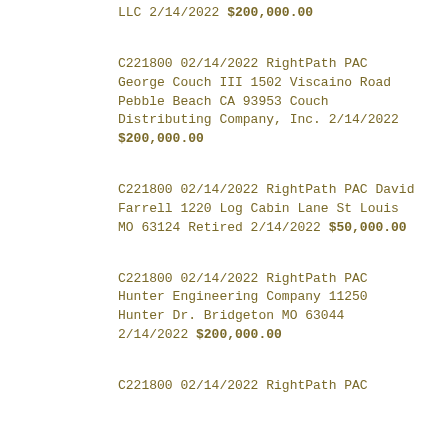LLC 2/14/2022 $200,000.00
C221800 02/14/2022 RightPath PAC George Couch III 1502 Viscaino Road Pebble Beach CA 93953 Couch Distributing Company, Inc. 2/14/2022 $200,000.00
C221800 02/14/2022 RightPath PAC David Farrell 1220 Log Cabin Lane St Louis MO 63124 Retired 2/14/2022 $50,000.00
C221800 02/14/2022 RightPath PAC Hunter Engineering Company 11250 Hunter Dr. Bridgeton MO 63044 2/14/2022 $200,000.00
C221800 02/14/2022 RightPath PAC